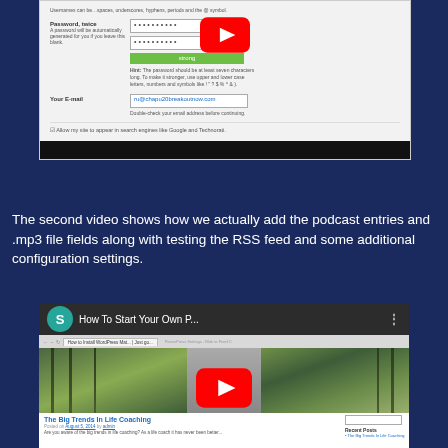[Figure (screenshot): Partial screenshot of a WordPress user registration form showing Password (twice) field with bullet characters and a green 'strong' strength indicator bar, Your E-mail field with a sample email address, and a checkbox for allowing site to appear in search engines. A YouTube play button overlay is visible. A black bar appears at the bottom of the screenshot.]
The second video shows how we actually add the podcast entries and .mp3 file fields along with testing the RSS feed and some additional configuration settings.
[Figure (screenshot): YouTube video thumbnail showing 'How To Start Your Own P...' with a teal avatar circle showing 'S', a browser screenshot of a WordPress blog page showing a tree-lined path image and a blog post titled 'The Big Trends In Life Coaching', with a red YouTube play button overlay.]